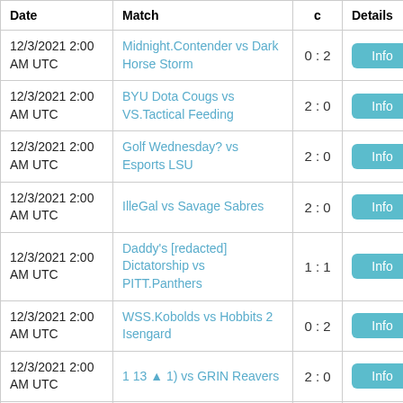| Date | Match | c | Details |
| --- | --- | --- | --- |
| 12/3/2021 2:00 AM UTC | Midnight.Contender vs Dark Horse Storm | 0 : 2 | Info |
| 12/3/2021 2:00 AM UTC | BYU Dota Cougs vs VS.Tactical Feeding | 2 : 0 | Info |
| 12/3/2021 2:00 AM UTC | Golf Wednesday? vs Esports LSU | 2 : 0 | Info |
| 12/3/2021 2:00 AM UTC | IlleGal vs Savage Sabres | 2 : 0 | Info |
| 12/3/2021 2:00 AM UTC | Daddy's [redacted] Dictatorship vs PITT.Panthers | 1 : 1 | Info |
| 12/3/2021 2:00 AM UTC | WSS.Kobolds vs Hobbits 2 Isengard | 0 : 2 | Info |
| 12/3/2021 2:00 AM UTC | 1 13 ▲ 1) vs GRIN Reavers | 2 : 0 | Info |
| 12/3/2021 2:00 AM UTC |  |  | Info |